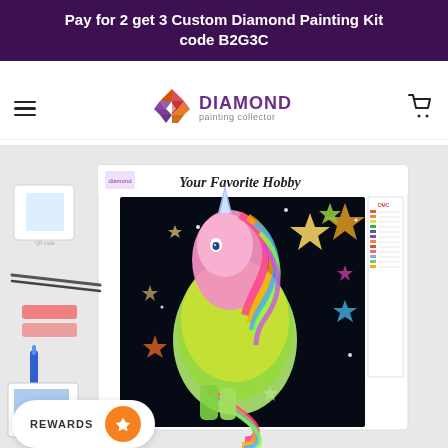Pay for 2 get 3 Custom Diamond Painting Kit code B2G3C
[Figure (logo): Diamond Painting Collector logo with geometric diamond icon and hamburger menu and cart icon]
[Figure (photo): Product photo showing a diamond painting kit of a rainbow unicorn on black background with stars, surrounded by kit accessories including tweezers, applicator pens, and reference chart.]
REWARDS